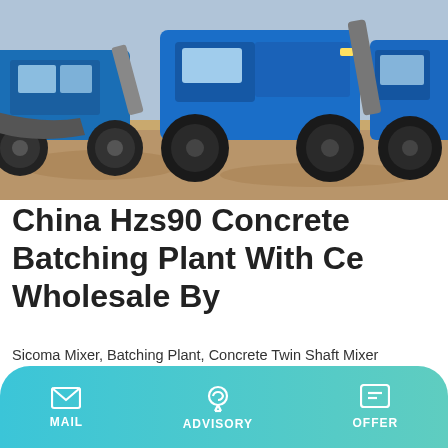[Figure (photo): Blue construction vehicles/loaders parked on a dirt ground, photographed outdoors]
China Hzs90 Concrete Batching Plant With Ce Wholesale By
Sicoma Mixer, Batching Plant, Concrete Twin Shaft Mixer manufacturer / supplier in China, offering Hzs90 Concrete Batching Plant with Ce Wholesale by Belt Conveyor Type, Rcc Concrete Pipe Making Machine From 600mm to 1500mm, China Pipe Centrifugal Making Machine for Africa Market and so on.
Learn More
MAIL  ADVISORY  OFFER